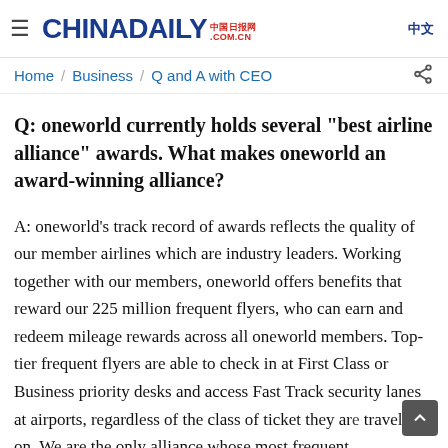CHINADAILY 中国日报网 .COM.CN 中文
Home / Business / Q and A with CEO
Q: oneworld currently holds several "best airline alliance" awards. What makes oneworld an award-winning alliance?
A: oneworld's track record of awards reflects the quality of our member airlines which are industry leaders. Working together with our members, oneworld offers benefits that reward our 225 million frequent flyers, who can earn and redeem mileage rewards across all oneworld members. Top-tier frequent flyers are able to check in at First Class or Business priority desks and access Fast Track security lanes at airports, regardless of the class of ticket they are traveling on. We are the only alliance whose most frequent